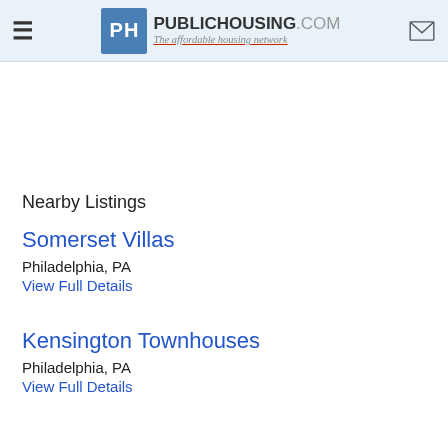PublicHousing.com – The affordable housing network
Nearby Listings
Somerset Villas
Philadelphia, PA
View Full Details
Kensington Townhouses
Philadelphia, PA
View Full Details